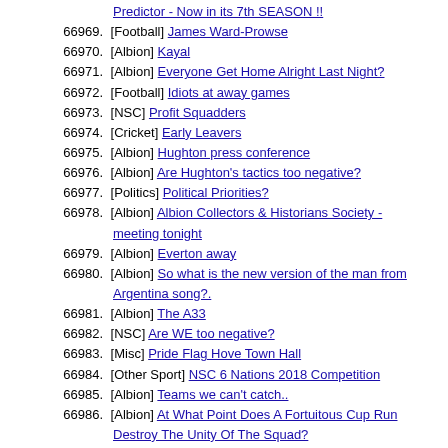[link] Predictor - Now in its 7th SEASON !!
66969. [Football] James Ward-Prowse
66970. [Albion] Kayal
66971. [Albion] Everyone Get Home Alright Last Night?
66972. [Football] Idiots at away games
66973. [NSC] Profit Squadders
66974. [Cricket] Early Leavers
66975. [Albion] Hughton press conference
66976. [Albion] Are Hughton's tactics too negative?
66977. [Politics] Political Priorities?
66978. [Albion] Albion Collectors & Historians Society - meeting tonight
66979. [Albion] Everton away
66980. [Albion] So what is the new version of the man from Argentina song?.
66981. [Albion] The A33
66982. [NSC] Are WE too negative?
66983. [Misc] Pride Flag Hove Town Hall
66984. [Other Sport] NSC 6 Nations 2018 Competition
66985. [Albion] Teams we can't catch..
66986. [Albion] At What Point Does A Fortuitous Cup Run Destroy The Unity Of The Squad?
66987. [Football] Who does Lewis Grabban play for?
66988. [Humour] Chris Hughton is so two-faced
66989. [Albion] If. ....IF we beat West Ham 2-0...
66990. [Misc] Old smokey!
66991. [Albion] Saints v Seagulls, bonus REPORT
66992. [Football] Palace Academy in the news.
66993. [Football] Brighton and Hove Albion sing Serbian starlet Bojan Radulovic